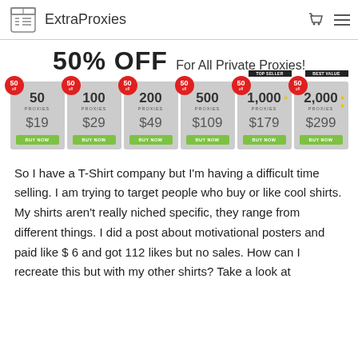ExtraProxies
50% OFF For All Private Proxies!
[Figure (other): Pricing cards showing 6 proxy plans with 50% off badges: 50 Proxies $19, 100 Proxies $29, 200 Proxies $49, 500 Proxies $109, 1,000 Proxies $179, 2,000 Proxies $299. Each card has a red 50% badge and a green BUY NOW button. 1,000 plan labeled TOP SELLER, 2,000 plan labeled BEST VALUE.]
So I have a T-Shirt company but I'm having a difficult time selling. I am trying to target people who buy or like cool shirts. My shirts aren't really niched specific, they range from different things. I did a post about motivational posters and paid like $ 6 and got 112 likes but no sales. How can I recreate this but with my other shirts? Take a look at